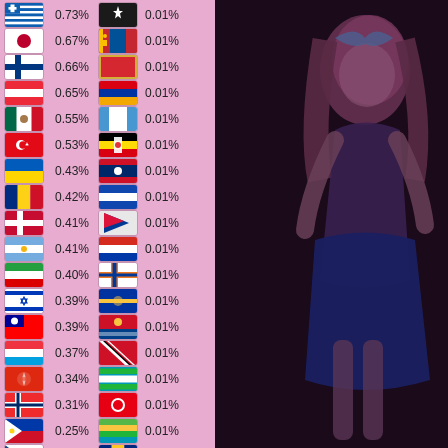[Figure (infographic): Two-column list of country flags with percentage values on a pink background, plus a dark anime-style illustration on the right half of the page.]